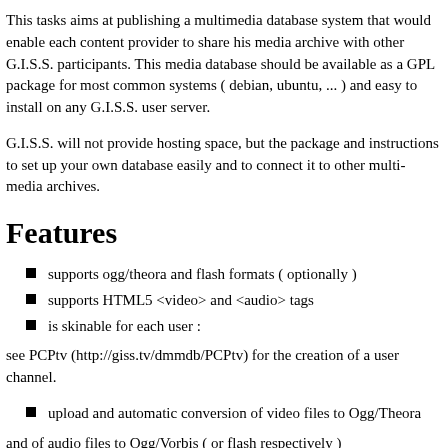This tasks aims at publishing a multimedia database system that would enable each content provider to share his media archive with other G.I.S.S. participants. This media database should be available as a GPL package for most common systems ( debian, ubuntu, ... ) and easy to install on any G.I.S.S. user server.
G.I.S.S. will not provide hosting space, but the package and instructions to set up your own database easily and to connect it to other multi-media archives.
Features
supports ogg/theora and flash formats ( optionally )
supports HTML5 <video> and <audio> tags
is skinable for each user :
see PCPtv (http://giss.tv/dmmdb/PCPtv) for the creation of a user channel.
upload and automatic conversion of video files to Ogg/Theora
and of audio files to Ogg/Vorbis ( or flash respectively )